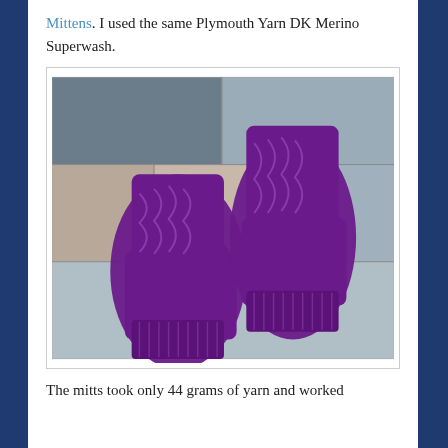Mittens. I used the same Plymouth Yarn DK Merino Superwash.
[Figure (photo): Two purple cable-knit fingerless mittens laid flat on a tiled stone surface. The mittens show intricate cable knitting patterns in deep purple yarn.]
The mitts took only 44 grams of yarn and worked